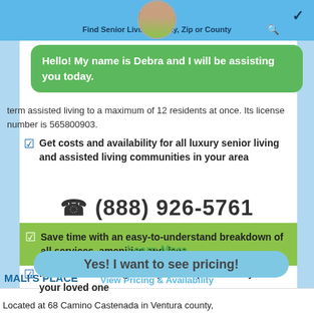Debra
Find Senior Living by City, Zip or County
Hello! My name is Debra and I will be assisting you today.
term assisted living to a maximum of 12 residents at once. Its license number is 565800903.
Get costs and availability for all luxury senior living and assisted living communities in your area
(888) 926-5761
Save time with an easy-to-understand breakdown of all services, amenities and fees
Learn More
View Pricing & Availability
Find a senior living facility that is perfect for you or your loved one
MALI'S PLACE
Yes! I want to see pricing!
Located at 68 Camino Castenada in Ventura county,